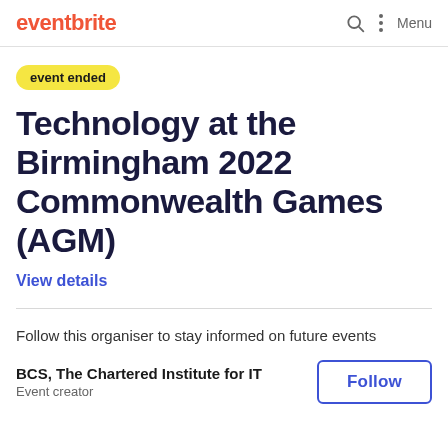eventbrite  Menu
event ended
Technology at the Birmingham 2022 Commonwealth Games (AGM)
View details
Follow this organiser to stay informed on future events
BCS, The Chartered Institute for IT
Event creator
Follow